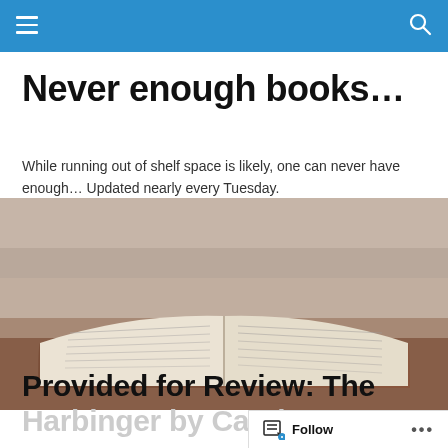Navigation bar with hamburger menu and search icon
Never enough books…
While running out of shelf space is likely, one can never have enough… Updated nearly every Tuesday.
[Figure (photo): Open book on a table, viewed from a low angle, with pages spread open. Warm brown tones with shallow depth of field.]
Provided for Review: The Harbinger by Candace…